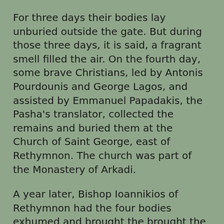For three days their bodies lay unburied outside the gate. But during those three days, it is said, a fragrant smell filled the air. On the fourth day, some brave Christians, led by Antonis Pourdounis and George Lagos, and assisted by Emmanuel Papadakis, the Pasha's translator, collected the remains and buried them at the Church of Saint George, east of Rethymnon. The church was part of the Monastery of Arkadi.
A year later, Bishop Ioannikios of Rethymnon had the four bodies exhumed and brought the brought the bodies and the skulls to the Cathedral in in Rethymnon. Some remains were also brought to the Monastery of Arkadi.
Tradition says that the homes of the Four Martyrs in Melambes were razed to the ground and later burned the village.
It is difficult to ascertain with historical certainty what happened to the families of the four martyrs. Local people believe that in the case of the families of Nikolaos, George